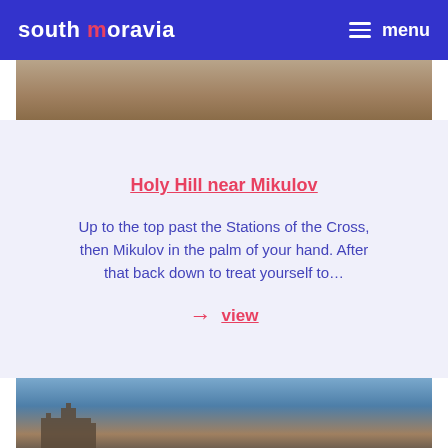south moravia   menu
[Figure (photo): Partial view of Holy Hill landscape, rocky terrain]
Holy Hill near Mikulov
Up to the top past the Stations of the Cross, then Mikulov in the palm of your hand. After that back down to treat yourself to...
→ view
[Figure (photo): Stone tower/ruin silhouette against blue sky, bottom of page]